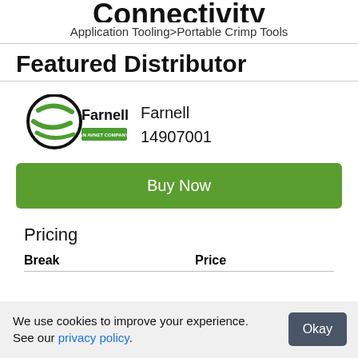Connectivity
Application Tooling>Portable Crimp Tools
Featured Distributor
[Figure (logo): Farnell AN AVNET COMPANY logo with green swoosh]
Farnell
14907001
Buy Now
Pricing
| Break | Price |
| --- | --- |
We use cookies to improve your experience. See our privacy policy.